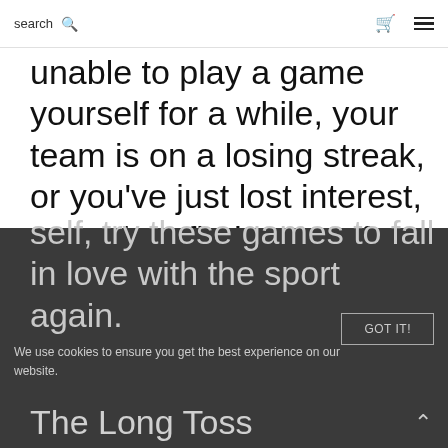search [search icon] [cart icon] [menu icon]
unable to play a game yourself for a while, your team is on a losing streak, or you've just lost interest, you might find yourself feeling like you're faking your interest. If you're missing your old sports-loving self, try these games to fall in love with the sport again.
We use cookies to ensure you get the best experience on our website.
GOT IT!
The Long Toss